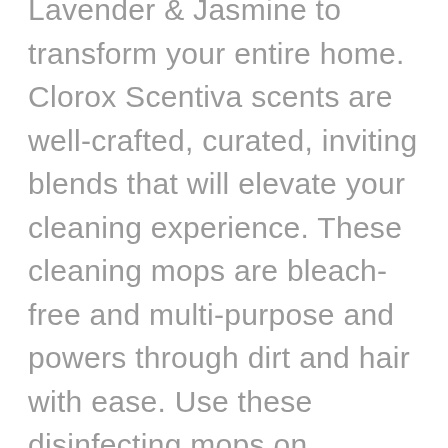Lavender & Jasmine to transform your entire home. Clorox Scentiva scents are well-crafted, curated, inviting blends that will elevate your cleaning experience. These cleaning mops are bleach-free and multi-purpose and powers through dirt and hair with ease. Use these disinfecting mops on finished wood, laminate, vinyl, linoleum, quartz and glazed tile. Safe to use on multi-surfaces, Clorox Scentiva Disinfecting Wet Mopping Cloths eliminate 99.9% of germs while filling your home with uplifting, long-lasting scents.